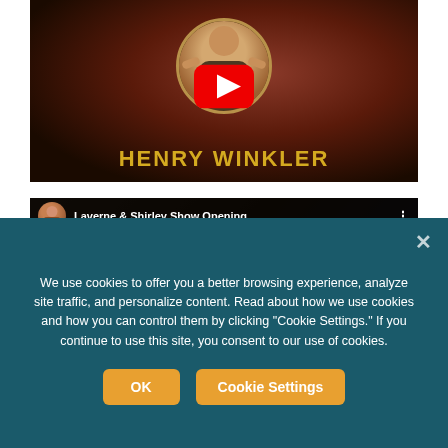[Figure (screenshot): YouTube video thumbnail showing Henry Winkler with a circular portrait photo, yellow play button overlay, and 'HENRY WINKLER' text in gold/yellow at the bottom on a dark reddish background]
[Figure (screenshot): YouTube video thumbnail showing 'Laverne & Shirley Show Opening' with a dark bar at top showing the video title, a user avatar, and three-dot menu. Two figures visible in the background scene.]
We use cookies to offer you a better browsing experience, analyze site traffic, and personalize content. Read about how we use cookies and how you can control them by clicking "Cookie Settings." If you continue to use this site, you consent to our use of cookies.